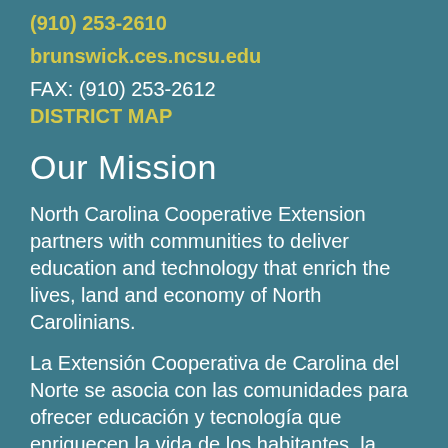(910) 253-2610
brunswick.ces.ncsu.edu
FAX: (910) 253-2612
DISTRICT MAP
Our Mission
North Carolina Cooperative Extension partners with communities to deliver education and technology that enrich the lives, land and economy of North Carolinians.
La Extensión Cooperativa de Carolina del Norte se asocia con las comunidades para ofrecer educación y tecnología que enriquecen la vida de los habitantes, la tierra y la economía de Carolina del Norte.